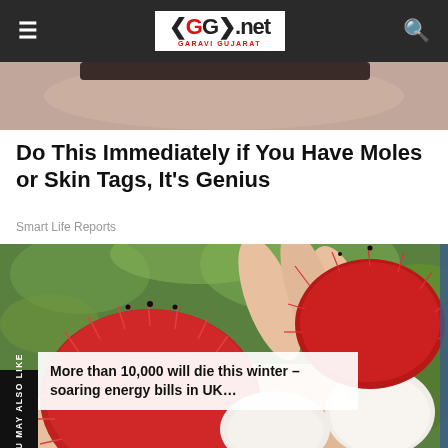GG2.net GARAVI GUJARAT
[Figure (photo): Partial photo of a person visible at the top of the page, cropped.]
Do This Immediately if You Have Moles or Skin Tags, It's Genius
Smart Life Reports
[Figure (photo): Close-up photo of rambutan fruits held in a hand, showing red spiky exterior and white interior flesh.]
YOU MAY ALSO LIKE
More than 10,000 will die this winter – soaring energy bills in UK…